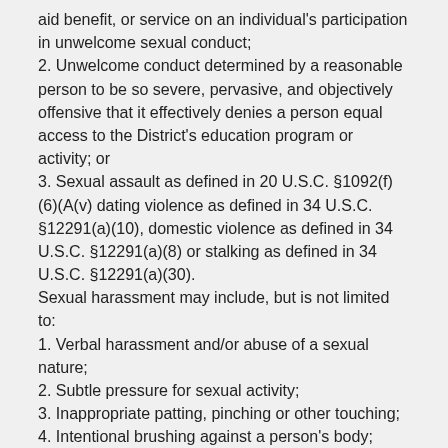aid benefit, or service on an individual's participation in unwelcome sexual conduct;
2. Unwelcome conduct determined by a reasonable person to be so severe, pervasive, and objectively offensive that it effectively denies a person equal access to the District's education program or activity; or
3. Sexual assault as defined in 20 U.S.C. §1092(f)(6)(A(v) dating violence as defined in 34 U.S.C. §12291(a)(10), domestic violence as defined in 34 U.S.C. §12291(a)(8) or stalking as defined in 34 U.S.C. §12291(a)(30).
Sexual harassment may include, but is not limited to:
1. Verbal harassment and/or abuse of a sexual nature;
2. Subtle pressure for sexual activity;
3. Inappropriate patting, pinching or other touching;
4. Intentional brushing against a person's body;
5. Demanding sexual favors accompanied by implied or overt threats;
6. Demanding sexual favors accompanied by implied or overt promises of preferential treatment;
7. Any sexually motivated unwelcome touching; or